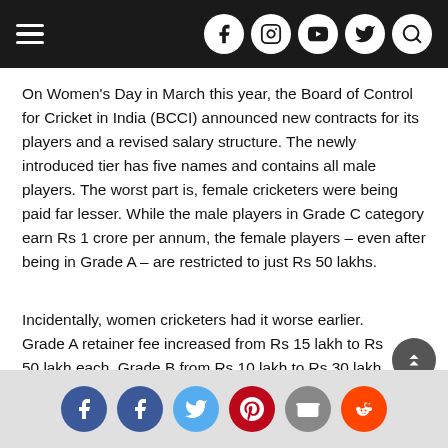Navigation bar with hamburger menu and social icons (Facebook, Instagram, YouTube, Twitter, Search)
On Women's Day in March this year, the Board of Control for Cricket in India (BCCI) announced new contracts for its players and a revised salary structure. The newly introduced tier has five names and contains all male players. The worst part is, female cricketers were being paid far lesser. While the male players in Grade C category earn Rs 1 crore per annum, the female players – even after being in Grade A – are restricted to just Rs 50 lakhs.
Incidentally, women cricketers had it worse earlier. Grade A retainer fee increased from Rs 15 lakh to Rs 50 lakh each, Grade B from Rs 10 lakh to Rs 30 lakh each, while Grade C is now for Rs 10 lakh each
Social share icons: Facebook, Facebook, Twitter, Pinterest, Email, Reddit